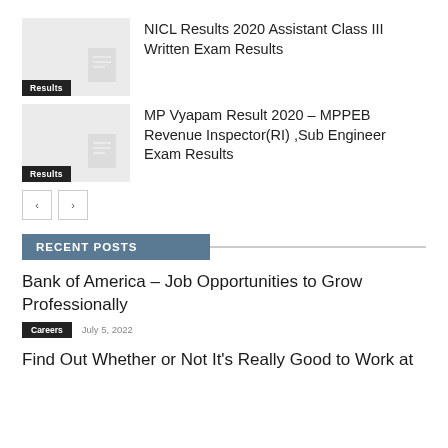[Figure (photo): Thumbnail image placeholder for NICL Results article with Results label tag]
NICL Results 2020 Assistant Class III Written Exam Results
[Figure (photo): Thumbnail image placeholder for MP Vyapam Result article with Results label tag]
MP Vyapam Result 2020 – MPPEB Revenue Inspector(RI) ,Sub Engineer Exam Results
RECENT POSTS
Bank of America – Job Opportunities to Grow Professionally
Careers   July 5, 2022
Find Out Whether or Not It's Really Good to Work at